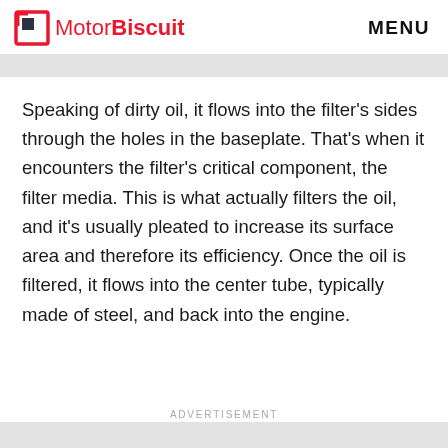MotorBiscuit  MENU
Speaking of dirty oil, it flows into the filter's sides through the holes in the baseplate. That's when it encounters the filter's critical component, the filter media. This is what actually filters the oil, and it's usually pleated to increase its surface area and therefore its efficiency. Once the oil is filtered, it flows into the center tube, typically made of steel, and back into the engine.
ADVERTISEMENT